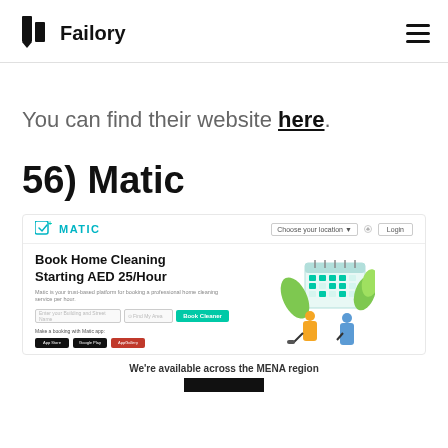Failory
You can find their website here.
56) Matic
[Figure (screenshot): Screenshot of the Matic website showing a home cleaning booking platform. Header has Matic logo and navigation. Hero section shows 'Book Home Cleaning Starting AED 25/Hour' with booking inputs and a teal 'Book Cleaner' button. App store badges shown at bottom. Right side shows illustration of two cleaning workers with a calendar.]
We're available across the MENA region